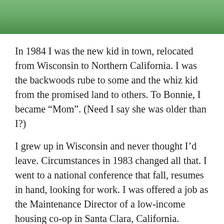[Figure (photo): Green background or outdoor photo strip at the top of the page]
In 1984 I was the new kid in town, relocated from Wisconsin to Northern California. I was the backwoods rube to some and the whiz kid from the promised land to others. To Bonnie, I became “Mom”. (Need I say she was older than I?)
I grew up in Wisconsin and never thought I’d leave. Circumstances in 1983 changed all that. I went to a national conference that fall, resumes in hand, looking for work. I was offered a job as the Maintenance Director of a low-income housing co-op in Santa Clara, California. Seventy nine families jointly owned